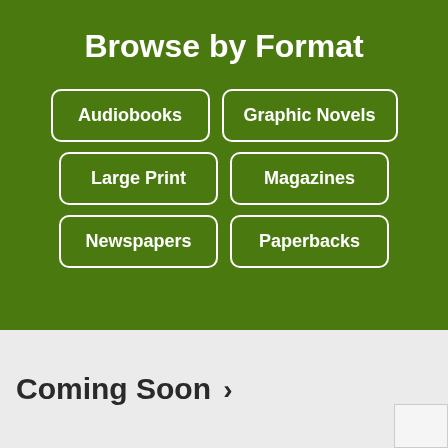Browse by Format
Audiobooks
Graphic Novels
Large Print
Magazines
Newspapers
Paperbacks
Coming Soon ›